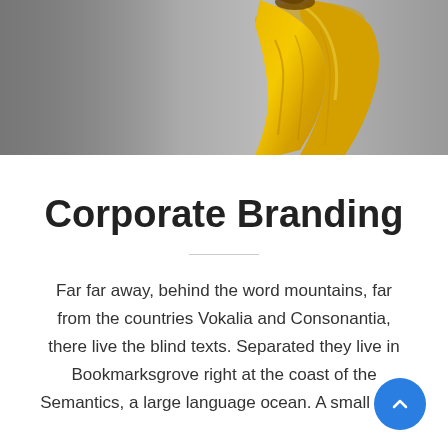[Figure (photo): Partial view of a person wearing a yellow garment against a gray background, cropped at the top of the page]
Corporate Branding
Far far away, behind the word mountains, far from the countries Vokalia and Consonantia, there live the blind texts. Separated they live in Bookmarksgrove right at the coast of the Semantics, a large language ocean. A small river